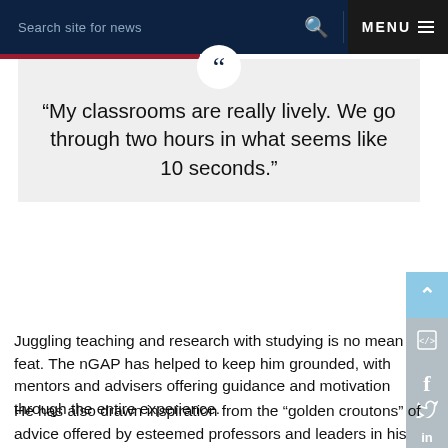Search site for news  MENU
“My classrooms are really lively. We go through two hours in what seems like 10 seconds.”
Juggling teaching and research with studying is no mean feat. The nGAP has helped to keep him grounded, with mentors and advisers offering guidance and motivation through the entire experience.
He has also drawn inspiration from the “golden croutons” of advice offered by esteemed professors and leaders in his field as well as from other faculties.